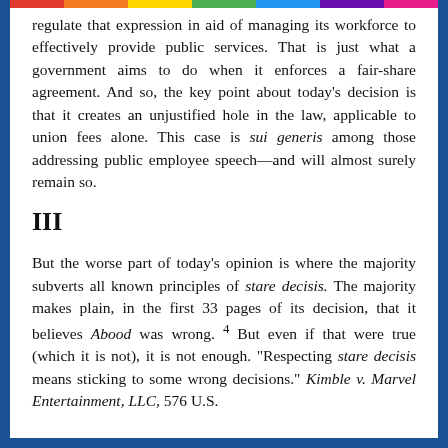regulate that expression in aid of managing its workforce to effectively provide public services. That is just what a government aims to do when it enforces a fair-share agreement. And so, the key point about today's decision is that it creates an unjustified hole in the law, applicable to union fees alone. This case is sui generis among those addressing public employee speech—and will almost surely remain so.
III
But the worse part of today's opinion is where the majority subverts all known principles of stare decisis. The majority makes plain, in the first 33 pages of its decision, that it believes Abood was wrong. 4 But even if that were true (which it is not), it is not enough. "Respecting stare decisis means sticking to some wrong decisions." Kimble v. Marvel Entertainment, LLC, 576 U.S.